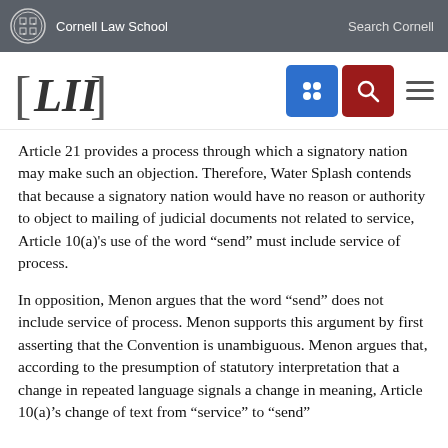Cornell Law School   Search Cornell
[Figure (logo): LII Legal Information Institute logo with navigation icons (grid icon in blue, search icon in red, hamburger menu)]
Article 21 provides a process through which a signatory nation may make such an objection. Therefore, Water Splash contends that because a signatory nation would have no reason or authority to object to mailing of judicial documents not related to service, Article 10(a)'s use of the word “send” must include service of process.
In opposition, Menon argues that the word “send” does not include service of process. Menon supports this argument by first asserting that the Convention is unambiguous. Menon argues that, according to the presumption of statutory interpretation that a change in repeated language signals a change in meaning, Article 10(a)'s change of text from “service” to “send”